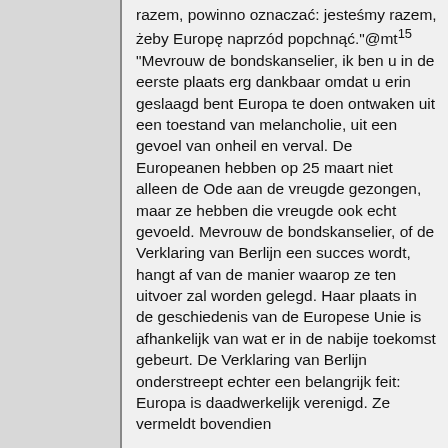razem, powinno oznaczać: jesteśmy razem, żeby Europę naprzód popchnąć."@mt¹⁵ "Mevrouw de bondskanselier, ik ben u in de eerste plaats erg dankbaar omdat u erin geslaagd bent Europa te doen ontwaken uit een toestand van melancholie, uit een gevoel van onheil en verval. De Europeanen hebben op 25 maart niet alleen de Ode aan de vreugde gezongen, maar ze hebben die vreugde ook echt gevoeld. Mevrouw de bondskanselier, of de Verklaring van Berlijn een succes wordt, hangt af van de manier waarop ze ten uitvoer zal worden gelegd. Haar plaats in de geschiedenis van de Europese Unie is afhankelijk van wat er in de nabije toekomst gebeurt. De Verklaring van Berlijn onderstreept echter een belangrijk feit: Europa is daadwerkelijk verenigd. Ze vermeldt bovendien